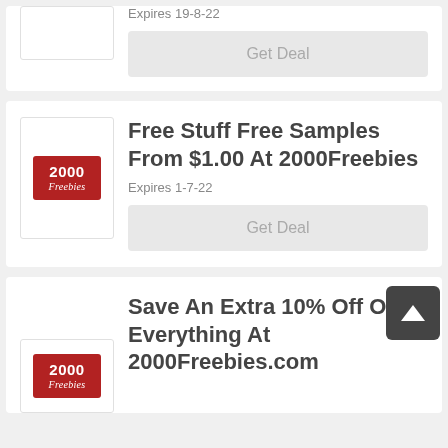[Figure (logo): Partial top card with logo box (cropped at top)]
Expires 19-8-22
Get Deal
[Figure (logo): 2000 Freebies logo badge — red background with white text]
Free Stuff Free Samples From $1.00 At 2000Freebies
Expires 1-7-22
Get Deal
[Figure (logo): 2000 Freebies logo badge — red background with white text, partial card at bottom]
Save An Extra 10% Off On Everything At 2000Freebies.com